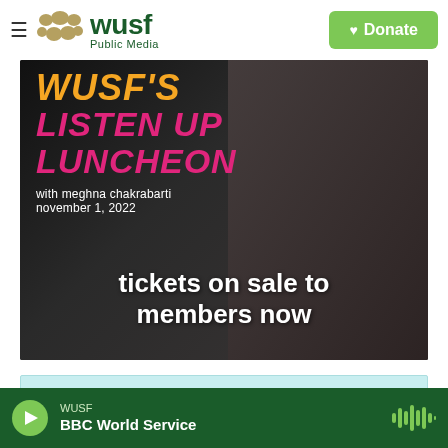[Figure (logo): WUSF Public Media logo with hamburger menu and Donate button]
[Figure (photo): WUSF's Listen Up Luncheon promotional banner with Meghna Chakrabarti, November 1 2022, tickets on sale to members now]
[Figure (photo): Get The Health News You Need advertisement banner with phone mockup on light blue background]
WUSF | BBC World Service